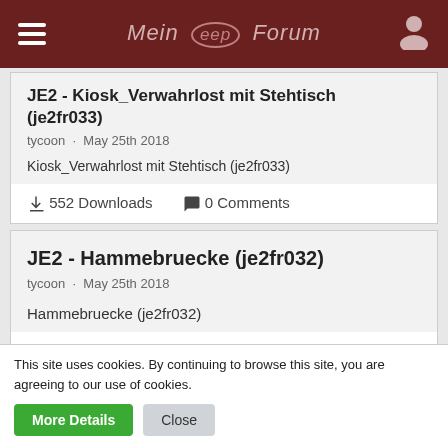Mein EEP Forum
JE2 - Kiosk_Verwahrlost mit Stehtisch (je2fr033)
tycoon · May 25th 2018
Kiosk_Verwahrlost mit Stehtisch (je2fr033)
552 Downloads  0 Comments
JE2 - Hammebruecke (je2fr032)
tycoon · May 25th 2018
Hammebruecke (je2fr032)
543 Downloads  0 Comments
This site uses cookies. By continuing to browse this site, you are agreeing to our use of cookies.